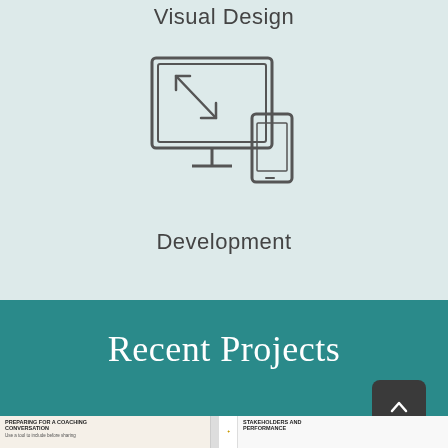Visual Design
[Figure (illustration): Line icon of a desktop monitor with a resize/responsive arrows and a mobile phone beside it, representing responsive/visual design]
Development
Recent Projects
[Figure (screenshot): Partial thumbnail strip showing two document/report pages at the bottom of the screen]